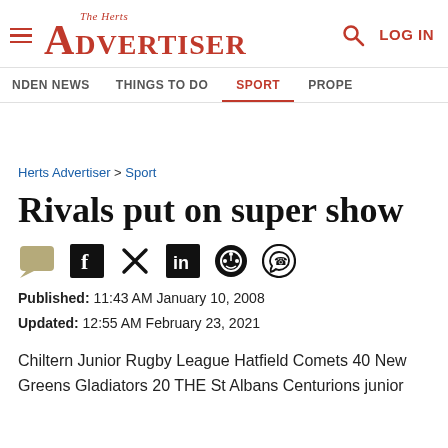The Herts Advertiser — LOG IN
NDEN NEWS  THINGS TO DO  SPORT  PROPE
Herts Advertiser > Sport
Rivals put on super show
Published: 11:43 AM January 10, 2008
Updated: 12:55 AM February 23, 2021
Chiltern Junior Rugby League Hatfield Comets 40 New Greens Gladiators 20 THE St Albans Centurions junior